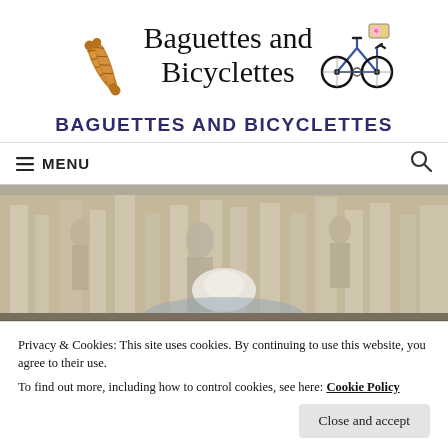[Figure (logo): Baguettes and Bicyclettes blog logo with stylized text, two baguettes illustration on left and a bicycle illustration on right]
BAGUETTES AND BICYCLETTES
≡ MENU
[Figure (photo): Photo of the Trevi Fountain in Rome with classical statues and architecture visible]
Privacy & Cookies: This site uses cookies. By continuing to use this website, you agree to their use.
To find out more, including how to control cookies, see here: Cookie Policy
Close and accept